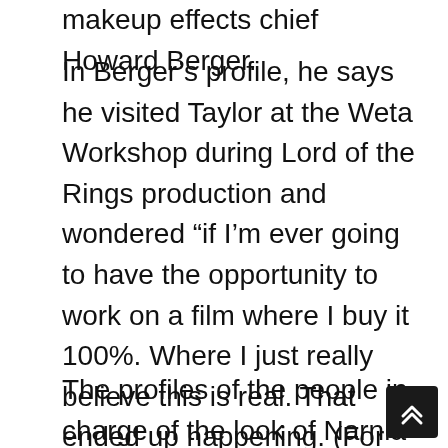makeup effects chief Howard Berger.
In Berger’s profile, he says he visited Taylor at the Weta Workshop during Lord of the Rings production and wondered “if I’m ever going to have the opportunity to work on a film where I buy it 100%. Where I just really believe this is real. That ended up happening. (For about a year), we all lived in Narnia.”
The profiles of the people in charge of the look of Narnia “is unlike any other DVD behind-the-scenes (feature),” Berger says. “A lot of behind-the-scenes are so technical and specialized about things that they miss the heart of the film.”